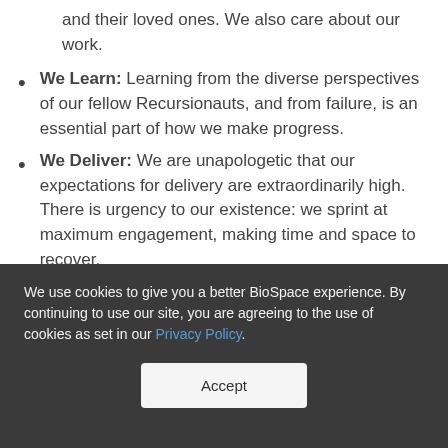and their loved ones. We also care about our work.
We Learn: Learning from the diverse perspectives of our fellow Recursionauts, and from failure, is an essential part of how we make progress.
We Deliver: We are unapologetic that our expectations for delivery are extraordinarily high. There is urgency to our existence: we sprint at maximum engagement, making time and space to recover.
We use cookies to give you a better BioSpace experience. By continuing to use our site, you are agreeing to the use of cookies as set in our Privacy Policy.
Accept